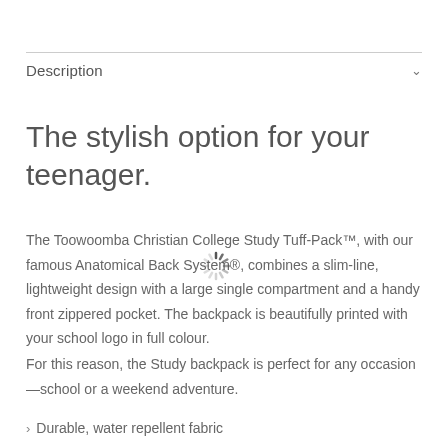Description
The stylish option for your teenager.
The Toowoomba Christian College Study Tuff-Pack™, with our famous Anatomical Back System®, combines a slim-line, lightweight design with a large single compartment and a handy front zippered pocket. The backpack is beautifully printed with your school logo in full colour.
For this reason, the Study backpack is perfect for any occasion—school or a weekend adventure.
Durable, water repellent fabric